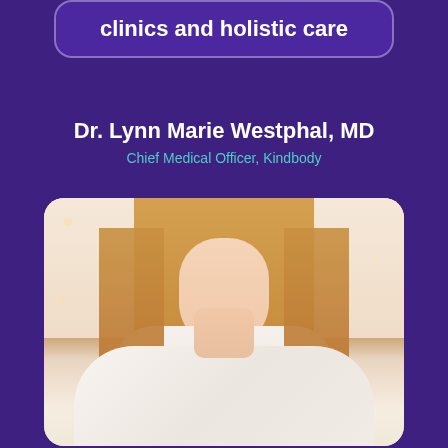clinics and holistic care
Dr. Lynn Marie Westphal, MD
Chief Medical Officer, Kindbody
[Figure (photo): Professional headshot of a woman with long blonde hair wearing a white top, smiling, in a bright clinical/office setting]